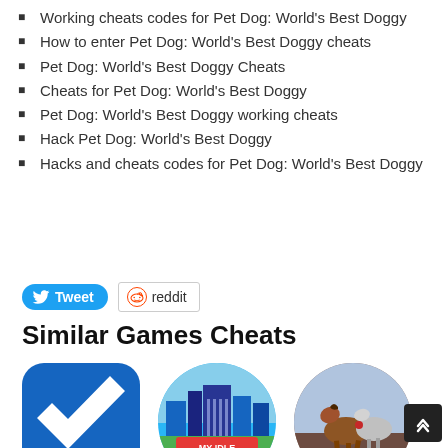Working cheats codes for Pet Dog: World's Best Doggy
How to enter Pet Dog: World's Best Doggy cheats
Pet Dog: World's Best Doggy Cheats
Cheats for Pet Dog: World's Best Doggy
Pet Dog: World's Best Doggy working cheats
Hack Pet Dog: World's Best Doggy
Hacks and cheats codes for Pet Dog: World's Best Doggy
[Figure (other): Tweet button (Twitter/X social share) and Reddit share button]
Similar Games Cheats
[Figure (illustration): Three game icons displayed in a row: a blue checkmark app icon (rounded square), My Idle City game icon (circle with city scene), and a horse game icon (circle with horses)]